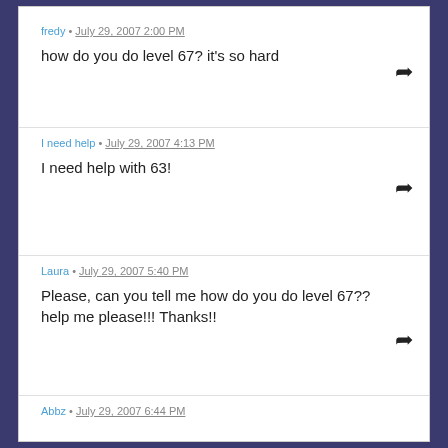fredy • July 29, 2007 2:00 PM
how do you do level 67? it's so hard
I need help • July 29, 2007 4:13 PM
I need help with 63!
Laura • July 29, 2007 5:40 PM
Please, can you tell me how do you do level 67?? help me please!!! Thanks!!
Abbz • July 29, 2007 6:44 PM